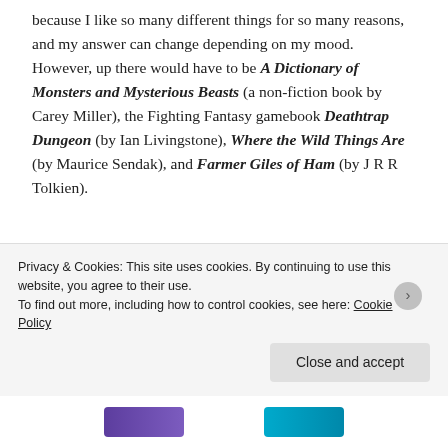because I like so many different things for so many reasons, and my answer can change depending on my mood. However, up there would have to be A Dictionary of Monsters and Mysterious Beasts (a non-fiction book by Carey Miller), the Fighting Fantasy gamebook Deathtrap Dungeon (by Ian Livingstone), Where the Wild Things Are (by Maurice Sendak), and Farmer Giles of Ham (by J R R Tolkien).
Thank you to Jonathan for ‘taking part’ today (You won a cuddly toy!) and if Mr Rhind-Tutt or Mr Bettany (or
Privacy & Cookies: This site uses cookies. By continuing to use this website, you agree to their use.
To find out more, including how to control cookies, see here: Cookie Policy